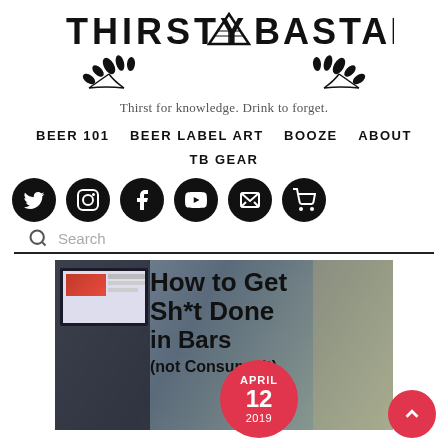[Figure (logo): Thirsty Bastards logo with text and wheat illustration]
Thirst for knowledge. Drink to forget.
BEER 101   BEER LABEL ART   BOOZE   ABOUT   TB GEAR
[Figure (infographic): Social media icons row: Twitter, Instagram, Facebook, YouTube, Email, Cart]
Search
[Figure (photo): Article thumbnail: How to Get Sh*t Done in Bars (not Consume it), overlaid with large bold text and a red date badge showing APRIL 12 2019]